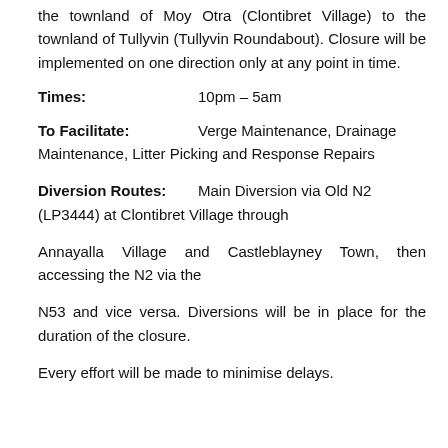the townland of Moy Otra (Clontibret Village) to the townland of Tullyvin (Tullyvin Roundabout). Closure will be implemented on one direction only at any point in time.
Times: 10pm – 5am
To Facilitate: Verge Maintenance, Drainage Maintenance, Litter Picking and Response Repairs
Diversion Routes: Main Diversion via Old N2 (LP3444) at Clontibret Village through
Annayalla Village and Castleblayney Town, then accessing the N2 via the
N53 and vice versa. Diversions will be in place for the duration of the closure.
Every effort will be made to minimise delays.